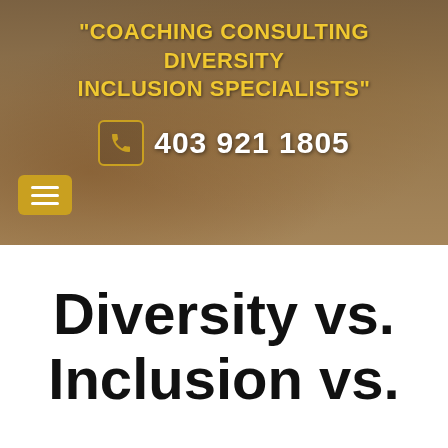[Figure (photo): Background photo of hands writing in a notebook and holding a phone, with warm brownish tones, overlaid with a dark semi-transparent layer.]
"COACHING CONSULTING DIVERSITY INCLUSION SPECIALISTS"
403 921 1805
Diversity vs. Inclusion vs.